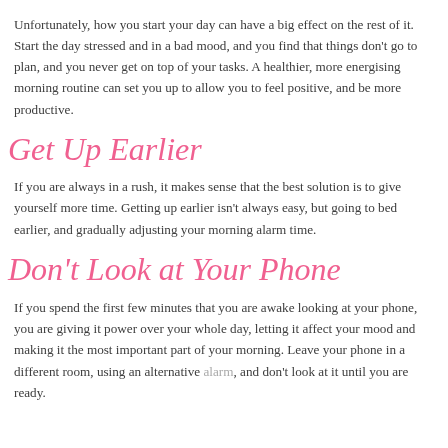Unfortunately, how you start your day can have a big effect on the rest of it. Start the day stressed and in a bad mood, and you find that things don't go to plan, and you never get on top of your tasks. A healthier, more energising morning routine can set you up to allow you to feel positive, and be more productive.
Get Up Earlier
If you are always in a rush, it makes sense that the best solution is to give yourself more time. Getting up earlier isn't always easy, but going to bed earlier, and gradually adjusting your morning alarm time.
Don't Look at Your Phone
If you spend the first few minutes that you are awake looking at your phone, you are giving it power over your whole day, letting it affect your mood and making it the most important part of your morning. Leave your phone in a different room, using an alternative alarm, and don't look at it until you are ready.